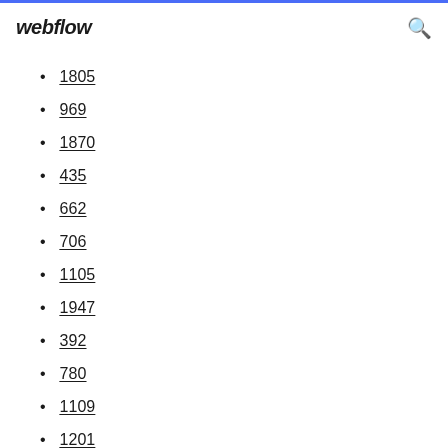webflow
1805
969
1870
435
662
706
1105
1947
392
780
1109
1201